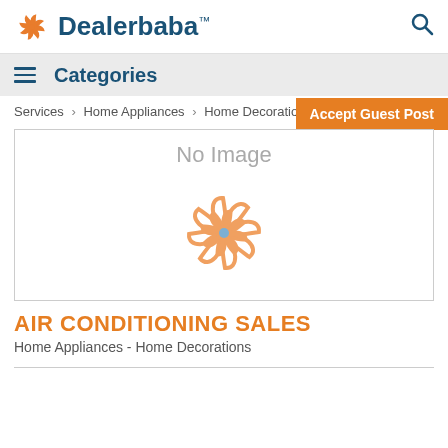Dealerbaba™
Categories
Services > Home Appliances > Home Decorations > Details
Accept Guest Post
[Figure (illustration): No Image placeholder with orange pinwheel logo on white background]
AIR CONDITIONING SALES
Home Appliances - Home Decorations